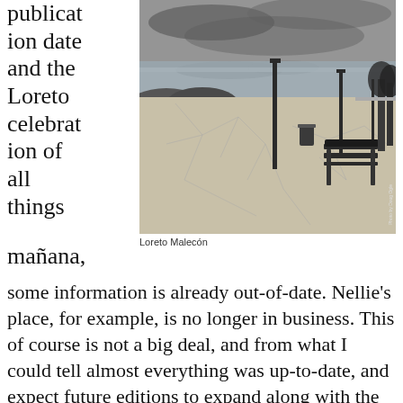publication date and the Loreto celebration of all things mañana,
[Figure (photo): Black and white photograph of the Loreto Malecón, showing a seaside promenade with a decorative patterned concrete walkway, a bench, lamp posts, rocky shoreline, calm water, and cloudy sky. Trees line the far right side. Photo credit: Photo by Doug Ogle.]
Loreto Malecón
some information is already out-of-date. Nellie's place, for example, is no longer in business. This of course is not a big deal, and from what I could tell almost everything was up-to-date, and expect future editions to expand along with the growth of Loreto.